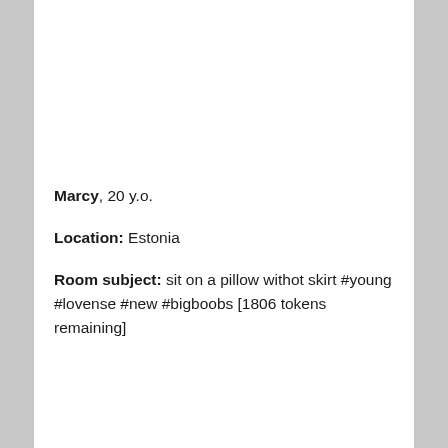Marcy, 20 y.o.
Location: Estonia
Room subject: sit on a pillow withot skirt #young #lovense #new #bigboobs [1806 tokens remaining]